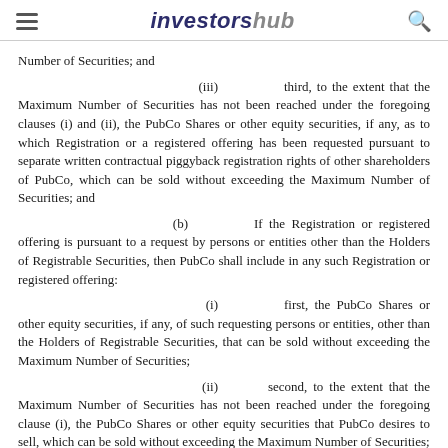investorshub
Number of Securities; and
(iii) third, to the extent that the Maximum Number of Securities has not been reached under the foregoing clauses (i) and (ii), the PubCo Shares or other equity securities, if any, as to which Registration or a registered offering has been requested pursuant to separate written contractual piggyback registration rights of other shareholders of PubCo, which can be sold without exceeding the Maximum Number of Securities; and
(b) If the Registration or registered offering is pursuant to a request by persons or entities other than the Holders of Registrable Securities, then PubCo shall include in any such Registration or registered offering:
(i) first, the PubCo Shares or other equity securities, if any, of such requesting persons or entities, other than the Holders of Registrable Securities, that can be sold without exceeding the Maximum Number of Securities;
(ii) second, to the extent that the Maximum Number of Securities has not been reached under the foregoing clause (i), the PubCo Shares or other equity securities that PubCo desires to sell, which can be sold without exceeding the Maximum Number of Securities;